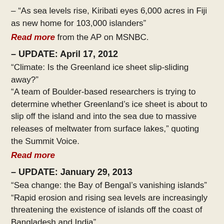– "As sea levels rise, Kiribati eyes 6,000 acres in Fiji as new home for 103,000 islanders"
Read more from the AP on MSNBC.
– UPDATE: April 17, 2012
"Climate: Is the Greenland ice sheet slip-sliding away?" "A team of Boulder-based researchers is trying to determine whether Greenland's ice sheet is about to slip off the island and into the sea due to massive releases of meltwater from surface lakes," quoting the Summit Voice.
Read more
– UPDATE: January 29, 2013
"Sea change: the Bay of Bengal's vanishing islands" "Rapid erosion and rising sea levels are increasingly threatening the existence of islands off the coast of Bangladesh and India"
By John Vidal in Cox's Bazar, UK's Guardian.
Read more